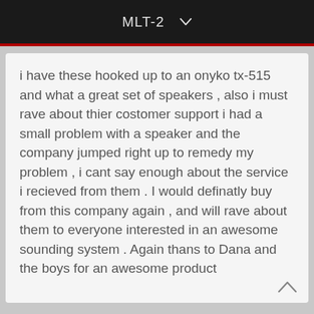MLT-2
i have these hooked up to an onyko tx-515 and what a great set of speakers , also i must rave about thier costomer support i had a small problem with a speaker and the company jumped right up to remedy my problem , i cant say enough about the service i recieved from them . I would definatly buy from this company again , and will rave about them to everyone interested in an awesome sounding system . Again thans to Dana and the boys for an awesome product